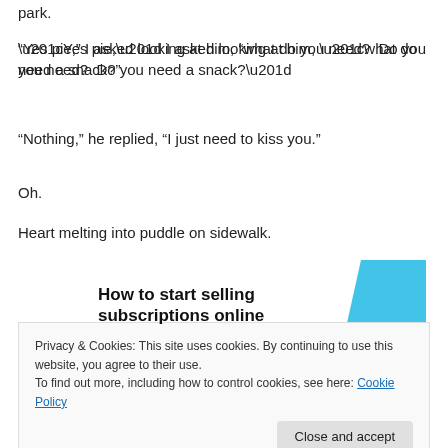park.
“Yes pie,” I asked looking at him, “what do you need?  Do you need a snack?”
“Nothing,” he replied, “I just need to kiss you.”
Oh.
Heart melting into puddle on sidewalk.
[Figure (illustration): Advertisement banner: 'How to start selling subscriptions online' with a light blue geometric shape on the right.]
Privacy & Cookies: This site uses cookies. By continuing to use this website, you agree to their use.
To find out more, including how to control cookies, see here: Cookie Policy